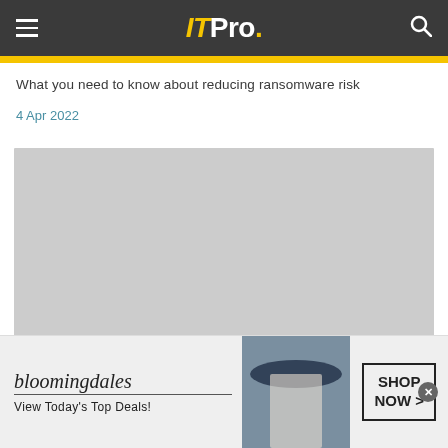IT Pro.
What you need to know about reducing ransomware risk
4 Apr 2022
[Figure (photo): Large gray placeholder image for article content]
[Figure (other): Bloomingdale's advertisement banner: 'View Today's Top Deals!' with SHOP NOW button and model wearing hat]